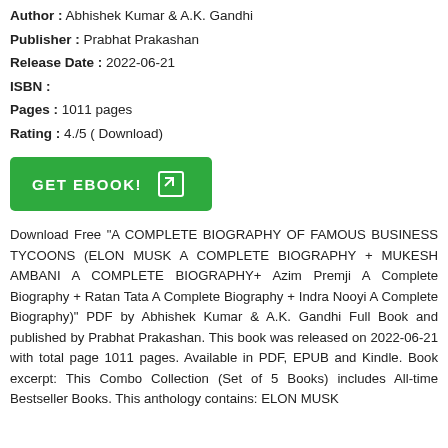Author : Abhishek Kumar & A.K. Gandhi
Publisher : Prabhat Prakashan
Release Date : 2022-06-21
ISBN :
Pages : 1011 pages
Rating : 4./5 ( Download)
[Figure (other): Green GET EBOOK! button with arrow icon]
Download Free "A COMPLETE BIOGRAPHY OF FAMOUS BUSINESS TYCOONS (ELON MUSK A COMPLETE BIOGRAPHY + MUKESH AMBANI A COMPLETE BIOGRAPHY+ Azim Premji A Complete Biography + Ratan Tata A Complete Biography + Indra Nooyi A Complete Biography)" PDF by Abhishek Kumar & A.K. Gandhi Full Book and published by Prabhat Prakashan. This book was released on 2022-06-21 with total page 1011 pages. Available in PDF, EPUB and Kindle. Book excerpt: This Combo Collection (Set of 5 Books) includes All-time Bestseller Books. This anthology contains: ELON MUSK